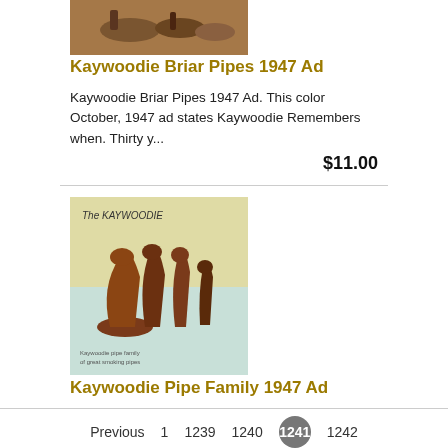[Figure (photo): Thumbnail image of Kaywoodie Briar Pipes 1947 Ad showing horses or figures in a historical scene]
Kaywoodie Briar Pipes 1947 Ad
Kaywoodie Briar Pipes 1947 Ad. This color October, 1947 ad states Kaywoodie Remembers when. Thirty y...
$11.00
[Figure (photo): Thumbnail image of Kaywoodie Pipe Family 1947 Ad showing multiple pipes arranged on a teal/yellow background with 'The KAYWOODIE' text]
Kaywoodie Pipe Family 1947 Ad
Kaywoodie Pipe Family 1947 Ad. This color two page January, 1947 ad states the Kaywoodie family of 1...
$11.00
Previous  1  1239  1240  1241  1242